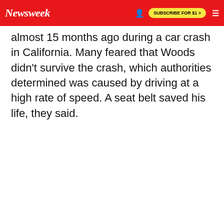Newsweek | SUBSCRIBE FOR $1 >
almost 15 months ago during a car crash in California. Many feared that Woods didn't survive the crash, which authorities determined was caused by driving at a high rate of speed. A seat belt saved his life, they said.